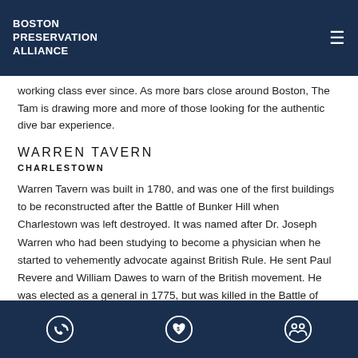Boston Preservation Alliance
working class ever since. As more bars close around Boston, The Tam is drawing more and more of those looking for the authentic dive bar experience.
WARREN TAVERN
CHARLESTOWN
Warren Tavern was built in 1780, and was one of the first buildings to be reconstructed after the Battle of Bunker Hill when Charlestown was left destroyed. It was named after Dr. Joseph Warren who had been studying to become a physician when he started to vehemently advocate against British Rule. He sent Paul Revere and William Dawes to warn of the British movement. He was elected as a general in 1775, but was killed in the Battle of Bunker Hill only days later. The Tavern was supposedly built using beams from
Phone | Donate | Members